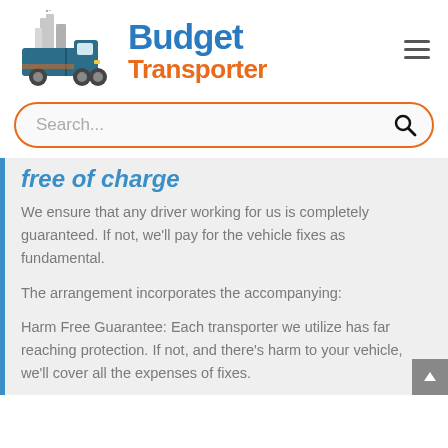[Figure (logo): Budget Transporter logo with truck graphic, blue 'Budget' text and orange 'Transporter' text, hamburger menu icon top right]
[Figure (screenshot): Search bar with orange rounded border, placeholder text 'Search...' and magnifying glass icon]
free of charge
We ensure that any driver working for us is completely guaranteed. If not, we'll pay for the vehicle fixes as fundamental.
The arrangement incorporates the accompanying:
Harm Free Guarantee: Each transporter we utilize has far reaching protection. If not, and there's harm to your vehicle, we'll cover all the expenses of fixes.